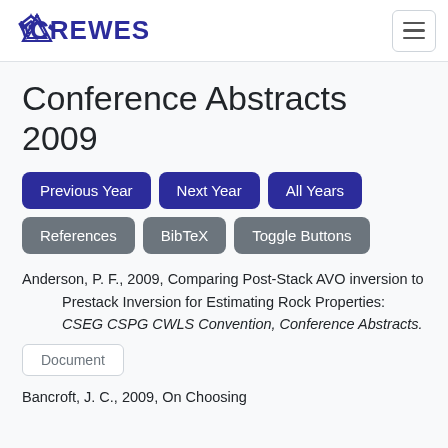CREWES
Conference Abstracts 2009
Previous Year
Next Year
All Years
References
BibTeX
Toggle Buttons
Anderson, P. F., 2009, Comparing Post-Stack AVO inversion to Prestack Inversion for Estimating Rock Properties: CSEG CSPG CWLS Convention, Conference Abstracts.
Document
Bancroft, J. C., 2009, On Choosing